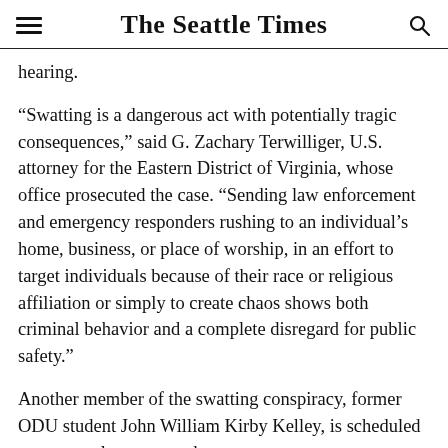The Seattle Times
hearing.
“Swatting is a dangerous act with potentially tragic consequences,” said G. Zachary Terwilliger, U.S. attorney for the Eastern District of Virginia, whose office prosecuted the case. “Sending law enforcement and emergency responders rushing to an individual’s home, business, or place of worship, in an effort to target individuals because of their race or religious affiliation or simply to create chaos shows both criminal behavior and a complete disregard for public safety.”
Another member of the swatting conspiracy, former ODU student John William Kirby Kelley, is scheduled to enter a plea next week.